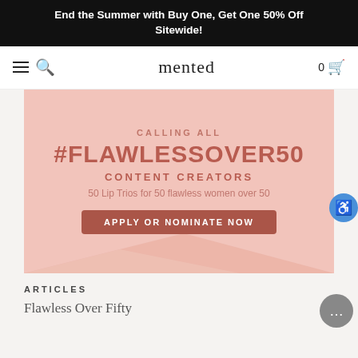End the Summer with Buy One, Get One 50% Off Sitewide!
mented  0
[Figure (screenshot): Promotional banner on pink background with text: CALLING ALL #FLAWLESSOVER50 CONTENT CREATORS. 50 Lip Trios for 50 flawless women over 50. Button: APPLY OR NOMINATE NOW]
ARTICLES
Flawless Over Fifty